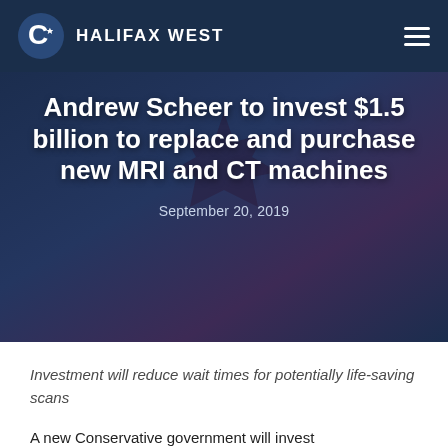HALIFAX WEST
Andrew Scheer to invest $1.5 billion to replace and purchase new MRI and CT machines
September 20, 2019
Investment will reduce wait times for potentially life-saving scans
A new Conservative government will invest